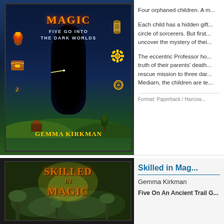[Figure (illustration): Book cover for 'Skilled in Magic: Five Go Into The Dark Worlds' by Gemma Kirkman. Fantasy illustration with dark portal, glowing magical objects, and landscape with barn and tree.]
Four orphaned children. A m...
Each child has a hidden gift... circle of sorcerers. But first... uncover the mystery of thei...
The eccentric Professor ho... truth of their parents' death... rescue mission to three dar... Mediarn, the children are te...
Format: Paperback / Harcow...
[Figure (illustration): Book cover for 'Skilled in Magic' by Gemma Kirkman showing title text in orange on dark misty background with mushroom-like shapes.]
Skilled in Magic
Gemma Kirkman
Five On An Ancient Trail G...